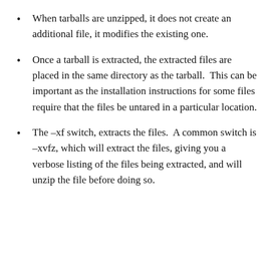When tarballs are unzipped, it does not create an additional file, it modifies the existing one.
Once a tarball is extracted, the extracted files are placed in the same directory as the tarball.  This can be important as the installation instructions for some files require that the files be untared in a particular location.
The –xf switch, extracts the files.  A common switch is –xvfz, which will extract the files, giving you a verbose listing of the files being extracted, and will unzip the file before doing so.